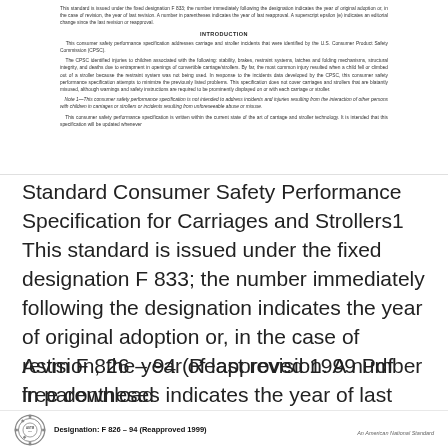[Figure (screenshot): Scanned page of ASTM standard document showing the Introduction section header and body text about consumer safety performance specification for carriages and strollers, including CPSC identification of hazards and scope notes.]
Standard Consumer Safety Performance Specification for Carriages and Strollers1 This standard is issued under the fixed designation F 833; the number immediately following the designation indicates the year of original adoption or, in the case of revision, the year of last revision. A number in parentheses indicates the year of last reapproval. A superscript epsilon (e) indicates an editorial change Read more
Astm F 826 – 94 (Reapproved 1999 Pdf free download
[Figure (logo): ASTM logo with Designation: F 826 – 94 (Reapproved 1999) and 'An American National Standard' text on the right.]